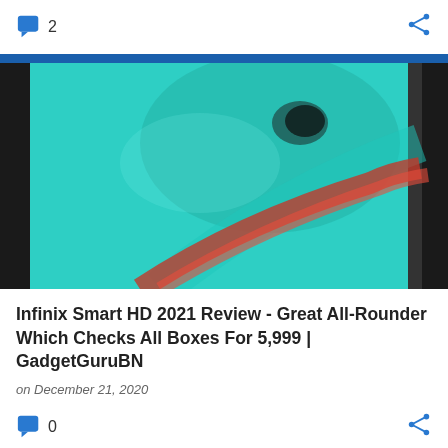2
[Figure (photo): Close-up blurred photo of what appears to be a smartphone back panel with teal/green background and red/orange curved design elements, framed by black phone edges on left and right.]
Infinix Smart HD 2021 Review - Great All-Rounder Which Checks All Boxes For 5,999 | GadgetGuruBN
on December 21, 2020
0